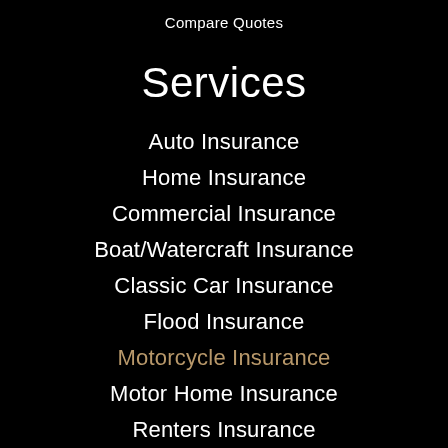Compare Quotes
Services
Auto Insurance
Home Insurance
Commercial Insurance
Boat/Watercraft Insurance
Classic Car Insurance
Flood Insurance
Motorcycle Insurance
Motor Home Insurance
Renters Insurance